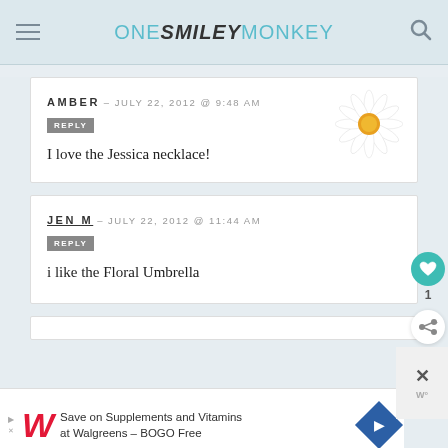ONE SMILEY MONKEY
AMBER – JULY 22, 2012 @ 9:48 AM
REPLY
I love the Jessica necklace!
JEN M – JULY 22, 2012 @ 11:44 AM
REPLY
i like the Floral Umbrella